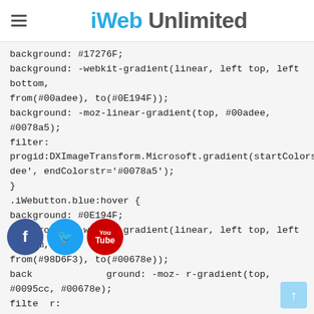iWeb Unlimited
background: #17276F;
background: -webkit-gradient(linear, left top, left bottom, from(#00adee), to(#0E194F));
background: -moz-linear-gradient(top, #00adee, #0078a5);
filter:
progid:DXImageTransform.Microsoft.gradient(startColorstr='#00adee', endColorstr='#0078a5');
}
.iWebutton.blue:hover {
background: #0E194F;
background: -webkit-gradient(linear, left top, left bottom, from(#98D6F3), to(#00678e));
background: -moz-linear-gradient(top, #0095cc, #00678e);
filter:
progid:DXImageTransform.Microsoft.gradient(startColorstr='#0095cc', endColorstr='#00678e');
}
.iWebutton.blue:active {
color: #80bed6;